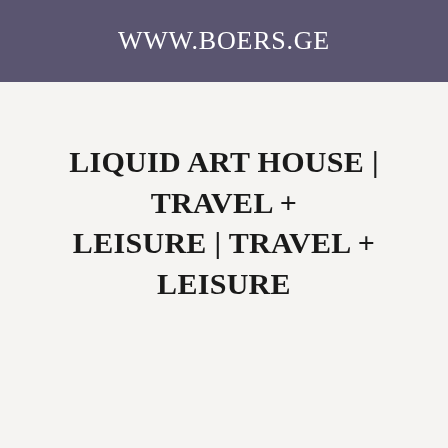WWW.BOERS.GE
LIQUID ART HOUSE | TRAVEL + LEISURE | TRAVEL + LEISURE